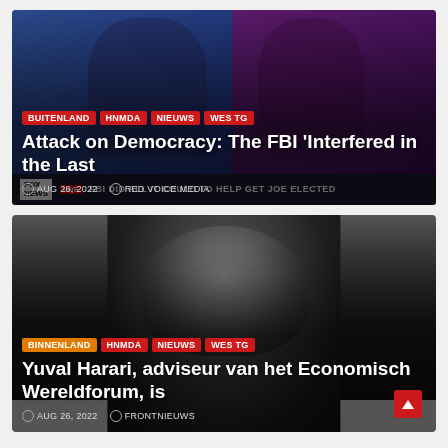[Figure (screenshot): News article card with Fox News screenshot showing two anchors. Tags: BUITENLAND, HNMDA, NIEUWS, WES TG. Title: Attack on Democracy: The FBI 'Interfered in the Last. Date: AUG 26, 2022. Source: RED VOICE MEDIA. Fox News chyron: FBI DID ALL IT COULD TO HELP GET JOE ELECTED.]
[Figure (screenshot): News article card with photo of Yuval Harari. Tags: BINNENLAND, HNMDA, NIEUWS, WES TG. Title: Yuval Harari, adviseur van het Economisch Wereldforum, is. Date: AUG 26, 2022. Source: FRONTNIEUWS.]